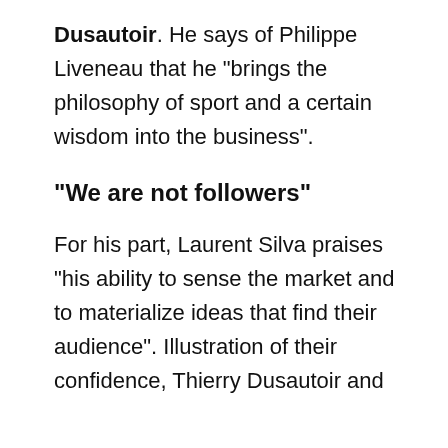Dusautoir. He says of Philippe Liveneau that he “brings the philosophy of sport and a certain wisdom into the business”.
“We are not followers”
For his part, Laurent Silva praises “his ability to sense the market and to materialize ideas that find their audience”. Illustration of their confidence, Thierry Dusautoir and